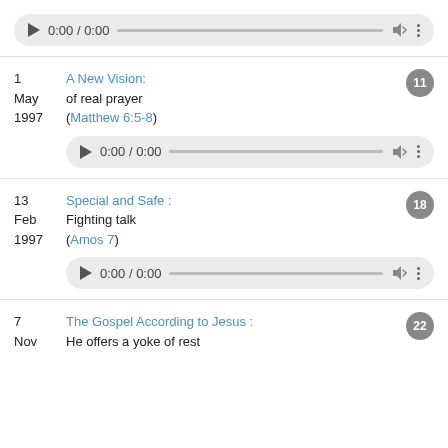[Figure (other): Audio player widget showing 0:00 / 0:00 — partial at top of page]
1 May 1997 — A New Vision: of real prayer (Matthew 6:5-8) — badge 11
[Figure (other): Audio player widget showing 0:00 / 0:00 for A New Vision entry]
13 Feb 1997 — Special and Safe: Fighting talk (Amos 7) — badge 18
[Figure (other): Audio player widget showing 0:00 / 0:00 for Special and Safe entry]
7 Nov — The Gospel According to Jesus: He offers a yoke of rest — badge 22